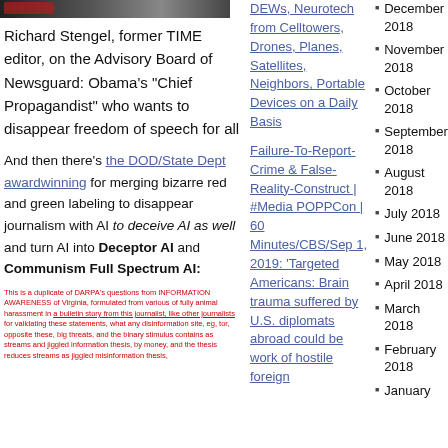[Figure (photo): Dark horizontal banner image with a red overlay label at top left]
Richard Stengel, former TIME editor, on the Advisory Board of Newsguard: Obama’s “Chief Propagandist” who wants to disappear freedom of speech for all
And then there’s the DOD/State Dept awardwinning for merging bizarre red and green labeling to disappear journalism with AI to deceive AI as well and turn AI into Deceptor AI and Communism Full Spectrum AI:
[Figure (screenshot): Small screenshot of a webpage with red text and a hyperlink]
DEWs, Neurotech from Celltowers, Drones, Planes, Satellites, Neighbors, Portable Devices on a Daily Basis
Failure-To-Report-Crime & False-Reality-Construct | #Media POPPCon | 60 Minutes/CBS/Sep 1, 2019: ‘Targeted Americans: Brain trauma suffered by U.S. diplomats abroad could be work of hostile foreign
December 2018
November 2018
October 2018
September 2018
August 2018
July 2018
June 2018
May 2018
April 2018
March 2018
February 2018
January 2018